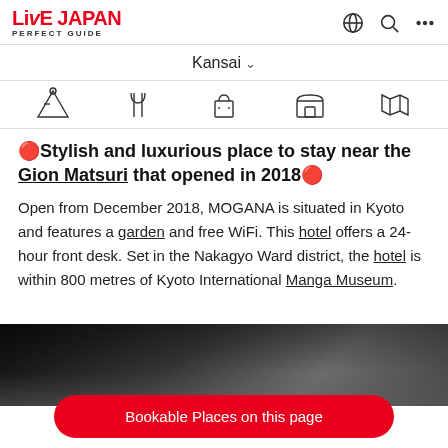LIVE JAPAN PERFECT GUIDE — Kansai
🔴Stylish and luxurious place to stay near the Gion Matsuri that opened in 2018🔴
Open from December 2018, MOGANA is situated in Kyoto and features a garden and free WiFi. This hotel offers a 24-hour front desk. Set in the Nakagyo Ward district, the hotel is within 800 metres of Kyoto International Manga Museum.
[Figure (photo): Dark interior photo of hotel room or lobby]
Bookable Places on this page